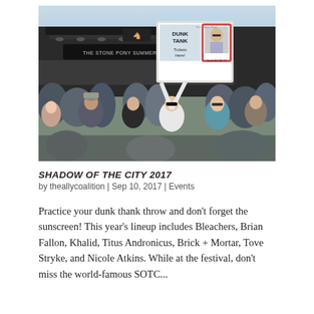[Figure (photo): Crowd at an outdoor music festival in front of The Stone Pony Summer Stage. A woman in a white t-shirt holds up a hand-drawn sign reading 'DUNK TANK Tickets Here!' with a photo of a person labeled 'Dunk Me! $5 ??'. Other festival-goers are visible in the crowd.]
SHADOW OF THE CITY 2017
by theallycoalition | Sep 10, 2017 | Events
Practice your dunk thank throw and don't forget the sunscreen! This year's lineup includes Bleachers, Brian Fallon, Khalid, Titus Andronicus, Brick + Mortar, Tove Stryke, and Nicole Atkins. While at the festival, don't miss the world-famous SOTC...